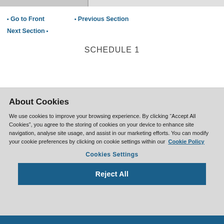Go to Front | Previous Section | Next Section
SCHEDULE 1
About Cookies
We use cookies to improve your browsing experience. By clicking “Accept All Cookies”, you agree to the storing of cookies on your device to enhance site navigation, analyse site usage, and assist in our marketing efforts. You can modify your cookie preferences by clicking on cookie settings within our Cookie Policy
Cookies Settings
Reject All